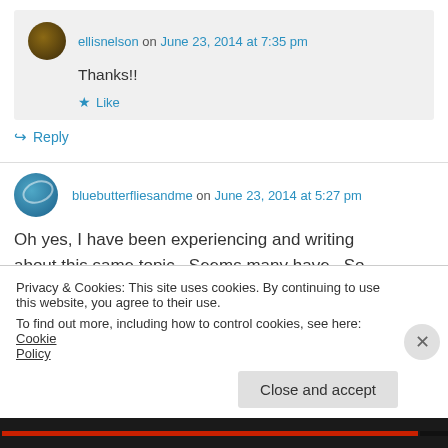ellisnelson on June 23, 2014 at 7:35 pm
Thanks!!
★ Like
↪ Reply
bluebutterfliesandme on June 23, 2014 at 5:27 pm
Oh yes, I have been experiencing and writing about this same topic. Seems many have. So
Privacy & Cookies: This site uses cookies. By continuing to use this website, you agree to their use.
To find out more, including how to control cookies, see here: Cookie Policy
Close and accept